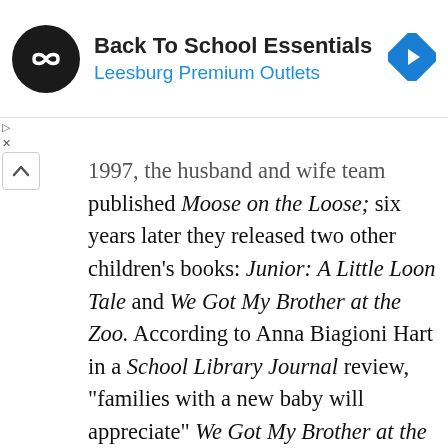[Figure (other): Advertisement banner for Leesburg Premium Outlets Back To School Essentials, with a black circular logo with a white infinity-style symbol, blue text subtitle, and a blue diamond arrow icon on the right.]
1997, the husband and wife team published Moose on the Loose; six years later they released two other children's books: Junior: A Little Loon Tale and We Got My Brother at the Zoo. According to Anna Biagioni Hart in a School Library Journal review, "families with a new baby will appreciate" We Got My Brother at the Zoo, which tells of Mary Margaret Morrison's frustration at her brother's entrance into the family. In Junior the Hassetts spin an environmentally minded story that finds Junior Loon hatching while Mother and Father Loon are away from the nest. The